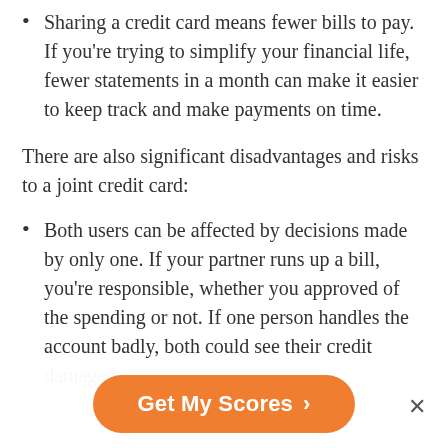Sharing a credit card means fewer bills to pay. If you're trying to simplify your financial life, fewer statements in a month can make it easier to keep track and make payments on time.
There are also significant disadvantages and risks to a joint credit card:
Both users can be affected by decisions made by only one. If your partner runs up a bill, you're responsible, whether you approved of the spending or not. If one person handles the account badly, both could see their credit damaged.
Get My Scores >